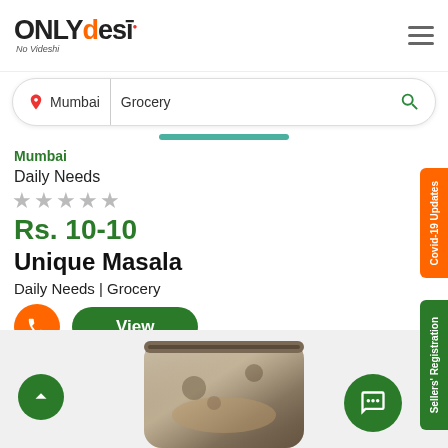[Figure (logo): ONLYdesi logo with orange and red accent colors and tagline 'No Videshi']
[Figure (screenshot): Search bar with location 'Mumbai' and search term 'Grocery' with green search icon]
Mumbai
Daily Needs
★★★★★ (empty stars)
Rs. 10-10
Unique Masala
Daily Needs | Grocery
View
Covid-19 Updates
Sellers' Registration
[Figure (photo): A product package of Unique Masala spice powder in a silver/clear pouch]